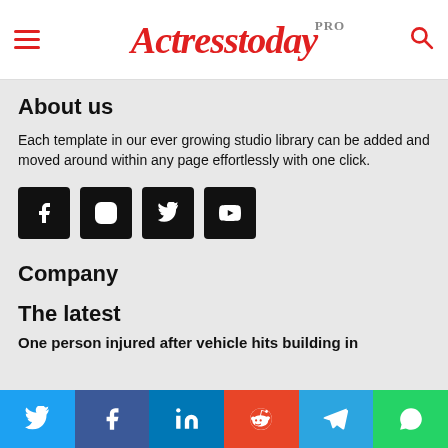Actresstoday PRO
About us
Each template in our ever growing studio library can be added and moved around within any page effortlessly with one click.
[Figure (infographic): Four social media icon buttons (Facebook, Instagram, Twitter, YouTube) as black square tiles]
Company
The latest
One person injured after vehicle hits building in
[Figure (infographic): Six social share buttons: Twitter (blue), Facebook (dark blue), LinkedIn (blue), Reddit (orange-red), Telegram (light blue), WhatsApp (green)]